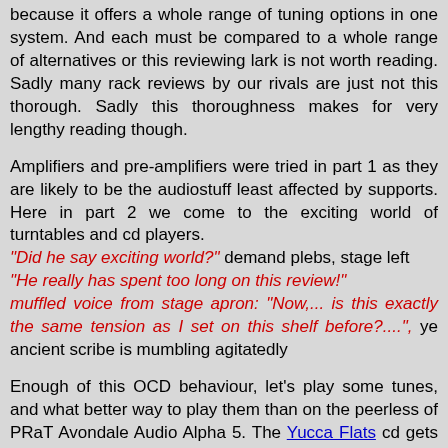because it offers a whole range of tuning options in one system. And each must be compared to a whole range of alternatives or this reviewing lark is not worth reading. Sadly many rack reviews by our rivals are just not this thorough. Sadly this thoroughness makes for very lengthy reading though.
Amplifiers and pre-amplifiers were tried in part 1 as they are likely to be the audiostuff least affected by supports. Here in part 2 we come to the exciting world of turntables and cd players. "Did he say exciting world?" demand plebs, stage left "He really has spent too long on this review!" muffled voice from stage apron: "Now,... is this exactly the same tension as I set on this shelf before?....", ye ancient scribe is mumbling agitatedly
Enough of this OCD behaviour, let's play some tunes, and what better way to play them than on the peerless of PRaT Avondale Audio Alpha 5. The Yucca Flats cd gets another spin or three.
Sound Quality
The Avondale Audio Alpha 5 loses none of its fabled verve